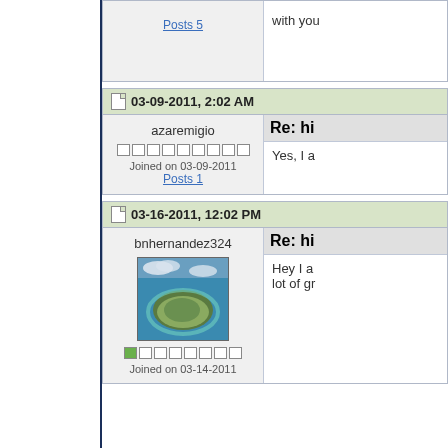[Figure (screenshot): Forum sidebar with blue striped pattern]
Posts 5
with you
03-09-2011, 2:02 AM
azaremigio
Re: hi
Joined on 03-09-2011
Posts 1
Yes, I a
03-16-2011, 12:02 PM
bnhernandez324
Re: hi
[Figure (photo): Aerial photograph of a small island surrounded by turquoise water]
Joined on 03-14-2011
Hey I a lot of gr